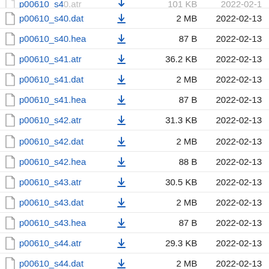p00610_s40.dat  2 MB  2022-02-13
p00610_s40.hea  87 B  2022-02-13
p00610_s41.atr  36.2 KB  2022-02-13
p00610_s41.dat  2 MB  2022-02-13
p00610_s41.hea  87 B  2022-02-13
p00610_s42.atr  31.3 KB  2022-02-13
p00610_s42.dat  2 MB  2022-02-13
p00610_s42.hea  88 B  2022-02-13
p00610_s43.atr  30.5 KB  2022-02-13
p00610_s43.dat  2 MB  2022-02-13
p00610_s43.hea  87 B  2022-02-13
p00610_s44.atr  29.3 KB  2022-02-13
p00610_s44.dat  2 MB  2022-02-13